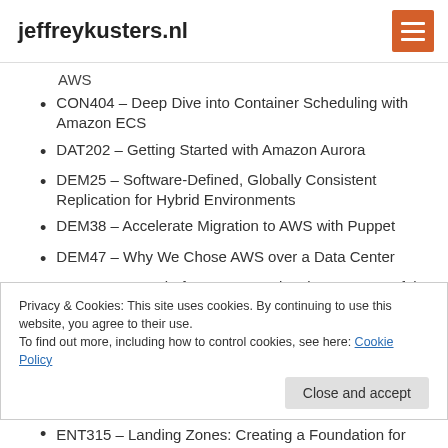jeffreykusters.nl
AWS
CON404 – Deep Dive into Container Scheduling with Amazon ECS
DAT202 – Getting Started with Amazon Aurora
DEM25 – Software-Defined, Globally Consistent Replication for Hybrid Environments
DEM38 – Accelerate Migration to AWS with Puppet
DEM47 – Why We Chose AWS over a Data Center
DEM54 – Know before You Go: Planning a Successful
Privacy & Cookies: This site uses cookies. By continuing to use this website, you agree to their use. To find out more, including how to control cookies, see here: Cookie Policy
ENT315 – Landing Zones: Creating a Foundation for